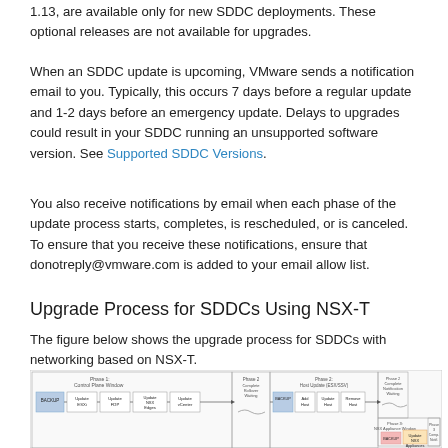1.13, are available only for new SDDC deployments. These optional releases are not available for upgrades.
When an SDDC update is upcoming, VMware sends a notification email to you. Typically, this occurs 7 days before a regular update and 1-2 days before an emergency update. Delays to upgrades could result in your SDDC running an unsupported software version. See Supported SDDC Versions.
You also receive notifications by email when each phase of the update process starts, completes, is rescheduled, or is canceled. To ensure that you receive these notifications, ensure that donotreply@vmware.com is added to your email allow list.
Upgrade Process for SDDCs Using NSX-T
The figure below shows the upgrade process for SDDCs with networking based on NSX-T.
[Figure (flowchart): Flowchart showing upgrade process for SDDCs with NSX-T networking, divided into phases: Phase 1 Control Plane Window (Backup, Update ESXi, Update FDP, Update NSX Edges, Update vCenter), Phase 2 Compete Rollover Waiting, Phase 2 Host Update (ESX/SSV) with Backup, Add Host, Update Host, Remove Host, Phase 2 Complete Notification Waiting, Phase 3 NSX Appliance Window (Backup, Update NSX Appliances), Phase 3 Completion Notification.]